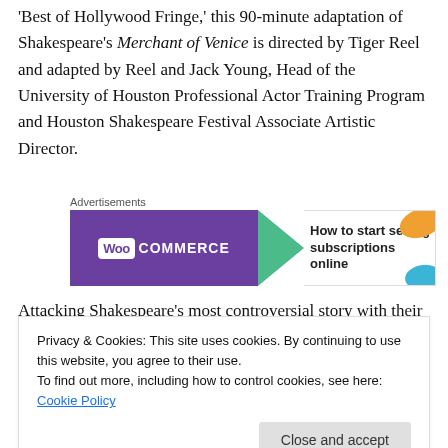'Best of Hollywood Fringe,' this 90-minute adaptation of Shakespeare's Merchant of Venice is directed by Tiger Reel and adapted by Reel and Jack Young, Head of the University of Houston Professional Actor Training Program and Houston Shakespeare Festival Associate Artistic Director.
[Figure (other): WooCommerce advertisement banner: purple left side with WooCommerce logo, green arrow, white right side with text 'How to start selling subscriptions online', orange and blue decorative shapes.]
Attacking Shakespeare's most controversial story with their customary imagination and visceral staging, Action!
Privacy & Cookies: This site uses cookies. By continuing to use this website, you agree to their use. To find out more, including how to control cookies, see here: Cookie Policy
beautiful heiress. Taking inspiration from the recent tales